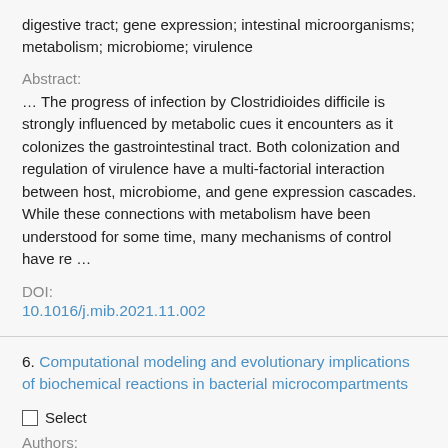digestive tract; gene expression; intestinal microorganisms; metabolism; microbiome; virulence
Abstract:
… The progress of infection by Clostridioides difficile is strongly influenced by metabolic cues it encounters as it colonizes the gastrointestinal tract. Both colonization and regulation of virulence have a multi-factorial interaction between host, microbiome, and gene expression cascades. While these connections with metabolism have been understood for some time, many mechanisms of control have re …
DOI:
10.1016/j.mib.2021.11.002
6. Computational modeling and evolutionary implications of biochemical reactions in bacterial microcompartments
Select
Authors: